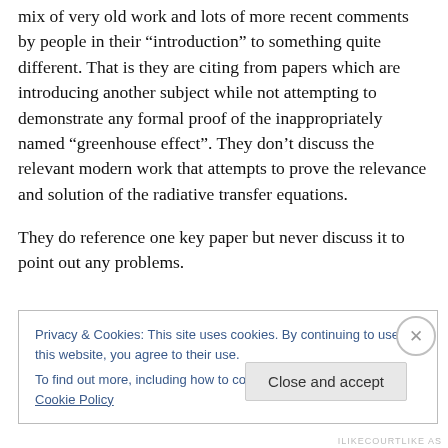mix of very old work and lots of more recent comments by people in their “introduction” to something quite different. That is they are citing from papers which are introducing another subject while not attempting to demonstrate any formal proof of the inappropriately named “greenhouse effect”. They don’t discuss the relevant modern work that attempts to prove the relevance and solution of the radiative transfer equations.
They do reference one key paper but never discuss it to point out any problems.
Privacy & Cookies: This site uses cookies. By continuing to use this website, you agree to their use.
To find out more, including how to control cookies, see here: Cookie Policy